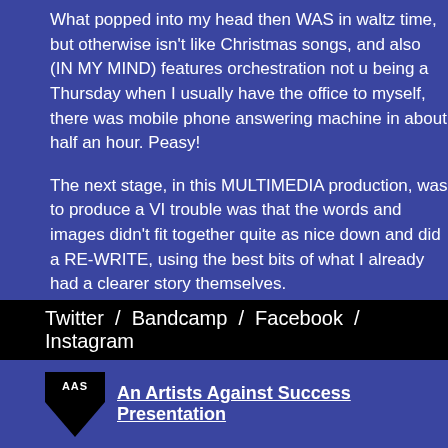What popped into my head then WAS in waltz time, but otherwise isn't like Christmas songs, and also (IN MY MIND) features orchestration not u being a Thursday when I usually have the office to myself, there was mobile phone answering machine in about half an hour. Peasy!
The next stage, in this MULTIMEDIA production, was to produce a VI trouble was that the words and images didn't fit together quite as nice down and did a RE-WRITE, using the best bits of what I already had a clearer story themselves.
At the same time I was putting together the track in the most FUTURI done by The Validators in THEIR homes, and the HUGE choir done b time to mix but the end results, i think, were very much worth it. It's M
Twitter / Bandcamp / Facebook / Instagram
An Artists Against Success Presentation